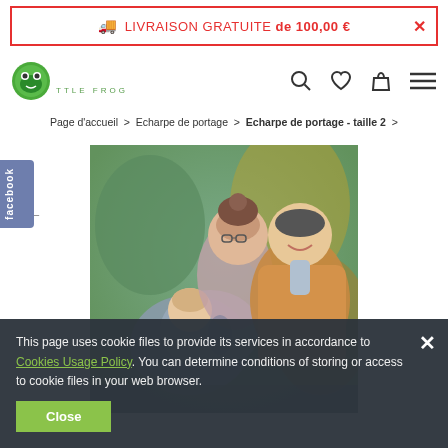🚚 LIVRAISON GRATUITE de 100,00 € ✕
[Figure (logo): Little Frog logo with frog icon and green brand name]
Page d'accueil > Echarpe de portage > Echarpe de portage - taille 2 >
[Figure (photo): A couple with a baby wrapped in a grey baby sling, smiling at each other]
This page uses cookie files to provide its services in accordance to Cookies Usage Policy. You can determine conditions of storing or access to cookie files in your web browser.
Close